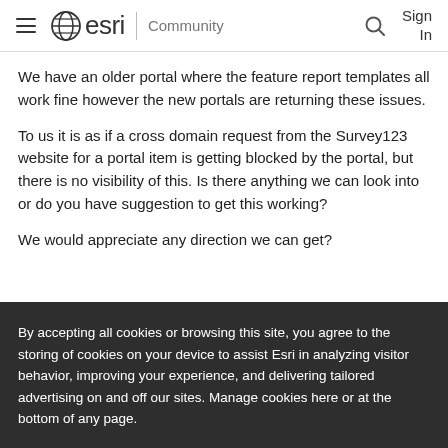esri Community
We have an older portal where the feature report templates all work fine however the new portals are returning these issues.
To us it is as if a cross domain request from the Survey123 website for a portal item is getting blocked by the portal, but there is no visibility of this. Is there anything we can look into or do you have suggestion to get this working?
We would appreciate any direction we can get?
By accepting all cookies or browsing this site, you agree to the storing of cookies on your device to assist Esri in analyzing visitor behavior, improving your experience, and delivering tailored advertising on and off our sites. Manage cookies here or at the bottom of any page.